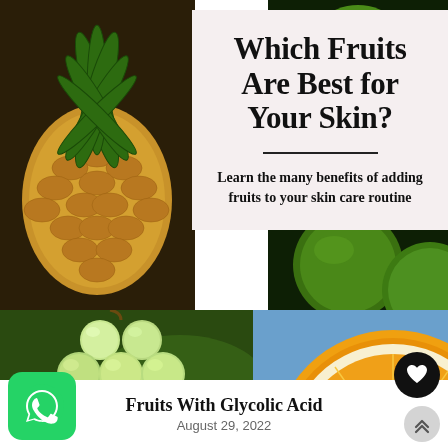[Figure (photo): Collage of four fruit photos: pineapple (top-left), green limes (top-right), green grapes (bottom-left), sliced orange (bottom-right). Central cream/pink card overlaid with title and subtitle text.]
Which Fruits Are Best for Your Skin?
Learn the many benefits of adding fruits to your skin care routine
[Figure (logo): WhatsApp green rounded square logo in bottom-left corner]
[Figure (other): Black circle with white heart icon (favorite/like button) on right side]
[Figure (other): Light grey circle with double up-chevron (scroll to top button) on right side]
Fruits With Glycolic Acid
August 29, 2022